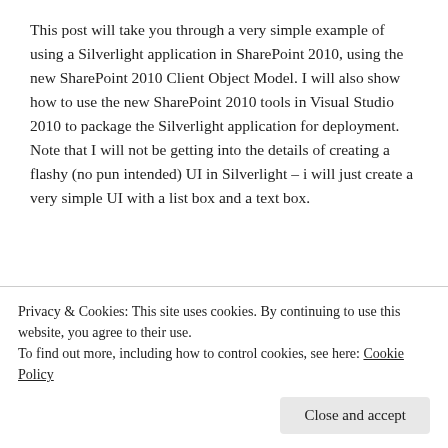This post will take you through a very simple example of using a Silverlight application in SharePoint 2010, using the new SharePoint 2010 Client Object Model. I will also show how to use the new SharePoint 2010 tools in Visual Studio 2010 to package the Silverlight application for deployment. Note that I will not be getting into the details of creating a flashy (no pun intended) UI in Silverlight – i will just create a very simple UI with a list box and a text box.
The Example is broken into 2 parts. The first will describe how to create a SharePoint 2010 solution and the will...
Privacy & Cookies: This site uses cookies. By continuing to use this website, you agree to their use.
To find out more, including how to control cookies, see here: Cookie Policy